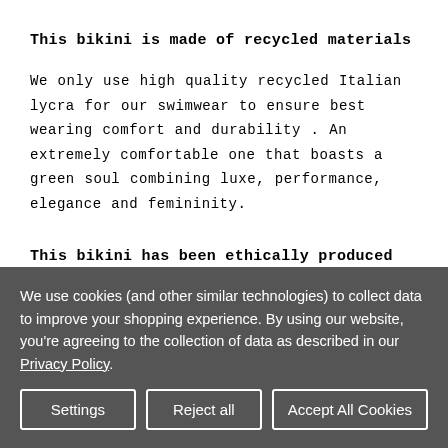This bikini is made of recycled materials
We only use high quality recycled Italian lycra for our swimwear to ensure best wearing comfort and durability . An extremely comfortable one that boasts a green soul combining luxe, performance, elegance and femininity.
This bikini has been ethically produced in
We use cookies (and other similar technologies) to collect data to improve your shopping experience. By using our website, you're agreeing to the collection of data as described in our Privacy Policy.